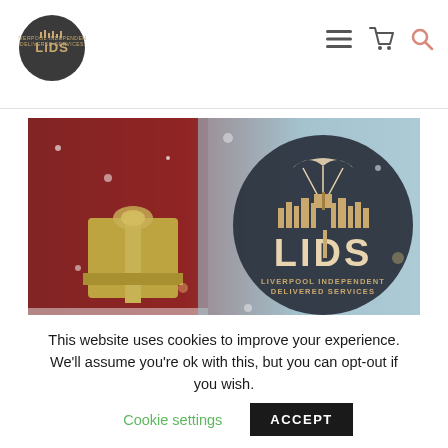[Figure (logo): LIDS Liverpool Independent Delivered Services circular logo in the navigation bar]
[Figure (photo): Banner image showing Santa Claus holding a gold gift box on the left, and the LIDS (Liverpool Independent Delivered Services) circular logo on the right against a snowy bokeh background]
This website uses cookies to improve your experience. We'll assume you're ok with this, but you can opt-out if you wish. Cookie settings ACCEPT